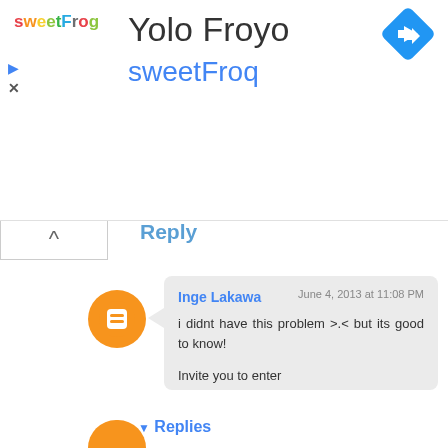[Figure (logo): sweetFrog logo with colorful letters]
Yolo Froyo
sweetFroq
[Figure (logo): Google Maps navigation direction diamond icon]
Reply
[Figure (logo): Blogger orange circle icon with B]
Inge Lakawa   June 4, 2013 at 11:08 PM
i didnt have this problem >.< but its good to know!

Invite you to enter
|| Luch Luch Craft x Persunmall International Giveaway
Hope you will Join :)
|| Luch Luch Craft New Post
Reply
▾ Replies